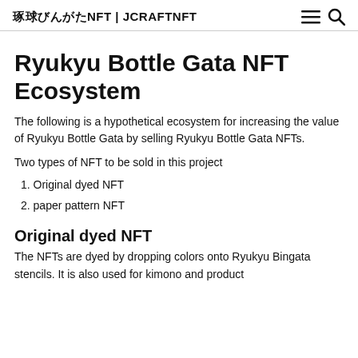琉球びんがたNFT | JCRAFTNFT
Ryukyu Bottle Gata NFT Ecosystem
The following is a hypothetical ecosystem for increasing the value of Ryukyu Bottle Gata by selling Ryukyu Bottle Gata NFTs.
Two types of NFT to be sold in this project
1. Original dyed NFT
2. paper pattern NFT
Original dyed NFT
The NFTs are dyed by dropping colors onto Ryukyu Bingata stencils. It is also used for kimono and product